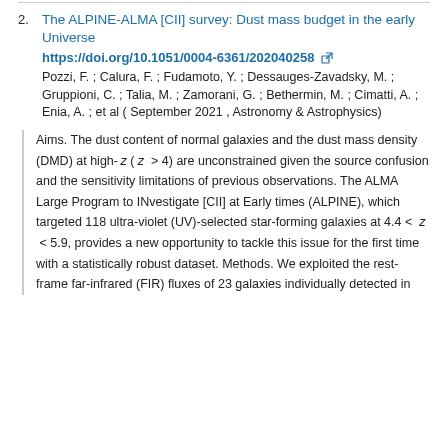2. The ALPINE-ALMA [CII] survey: Dust mass budget in the early Universe
https://doi.org/10.1051/0004-6361/202040258
Pozzi, F. ; Calura, F. ; Fudamoto, Y. ; Dessauges-Zavadsky, M. ; Gruppioni, C. ; Talia, M. ; Zamorani, G. ; Bethermin, M. ; Cimatti, A. ; Enia, A. ; et al ( September 2021 , Astronomy & Astrophysics)
Aims. The dust content of normal galaxies and the dust mass density (DMD) at high- z ( z > 4) are unconstrained given the source confusion and the sensitivity limitations of previous observations. The ALMA Large Program to INvestigate [CII] at Early times (ALPINE), which targeted 118 ultra-violet (UV)-selected star-forming galaxies at 4.4 < z < 5.9, provides a new opportunity to tackle this issue for the first time with a statistically robust dataset. Methods. We exploited the rest-frame far-infrared (FIR) fluxes of 23 galaxies individually detected in